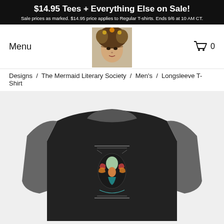$14.95 Tees + Everything Else on Sale! Sale prices as marked. $14.95 price applies to Regular T-shirts. Ends 9/6 at 10 AM CT.
Menu
[Figure (photo): Portrait of a woman with decorative headdress and ornate face makeup, used as shop logo]
0
Designs  /  The Mermaid Literary Society  /  Men's  /  Longsleeve T-Shirt
[Figure (photo): A black and grey raglan longsleeve t-shirt with a colorful illustrated design on the chest featuring mermaid/literary society artwork]